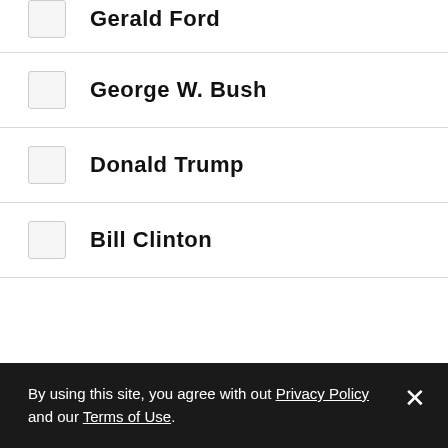Gerald Ford
George W. Bush
Donald Trump
Bill Clinton
By using this site, you agree with out Privacy Policy and our Terms of Use.